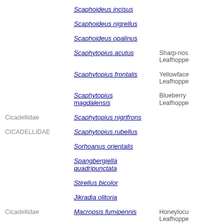| Family | Species | Common Name |
| --- | --- | --- |
|  | Scaphoideus incisus |  |
|  | Scaphoideus nigrellus |  |
|  | Scaphoideus opalinus |  |
|  | Scaphytopius acutus | Sharp-nosed Leafhopper |
|  | Scaphytopius frontalis | Yellowface Leafhopper |
|  | Scaphytopius magdalensis | Blueberry Leafhopper |
| Cicadellidae | Scaphytopius nigrifrons |  |
| CICADELLIDAE | Scaphytopius rubellus |  |
|  | Sorhoanus orientalis |  |
|  | Spangbergiella quadripunctata |  |
|  | Stirellus bicolor |  |
|  | Jikradia olitoria |  |
| Cicadellidae | Macropsis fumipennis | Honeylocust Leafhopper |
|  | Oncopsis nigrinasi |  |